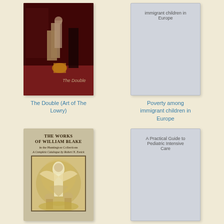[Figure (photo): Book cover of 'The Double (Art of The Lowry)' showing figures in a dark reddish interior scene with 'The Double' text on cover]
The Double (Art of The Lowry)
[Figure (photo): Placeholder book cover for 'Poverty among immigrant children in Europe' showing light gray placeholder with title text at top]
Poverty among immigrant children in Europe
[Figure (photo): Book cover of 'The Works of William Blake in the Huntington Collections: A Complete Catalogue by Robert N. Essick' with tan/beige background and painting of angels/figures]
[Figure (photo): Placeholder book cover for 'A Practical Guide to Pediatric Intensive Care' showing light gray placeholder with title text]